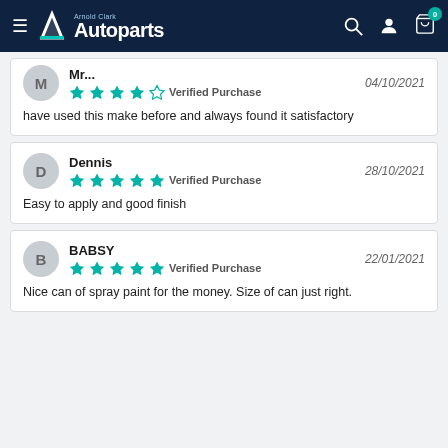[Figure (screenshot): Arnold Clark Autoparts website header with logo, hamburger menu, search icon, account icon, and cart icon with badge showing 0]
M  Mr... 04/10/2021
★★★★☆ Verified Purchase
have used this make before and always found it satisfactory
Dennis 28/10/2021
★★★★★ Verified Purchase
Easy to apply and good finish
BABSY 22/01/2021
★★★★★ Verified Purchase
Nice can of spray paint for the money. Size of can just right.